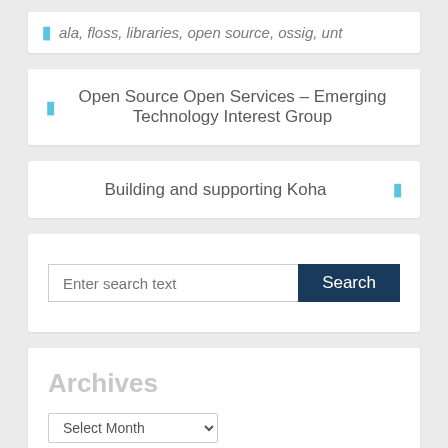ala, floss, libraries, open source, ossig, unt
Open Source Open Services – Emerging Technology Interest Group
Building and supporting Koha
Enter search text
Archives
Select Month